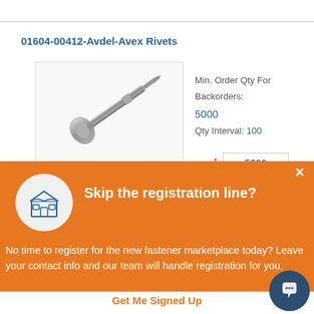01604-00412-Avdel-Avex Rivets
[Figure (photo): Photo of a metallic rivet/bolt fastener on white background]
Min. Order Qty For Backorders: 5000
Qty Interval: 100
Qty * 5000
Skip the registration line?
No time to register for the new fastener marketplace today? Leave your contact info and our team will handle registration for you.
Get Me Signed Up